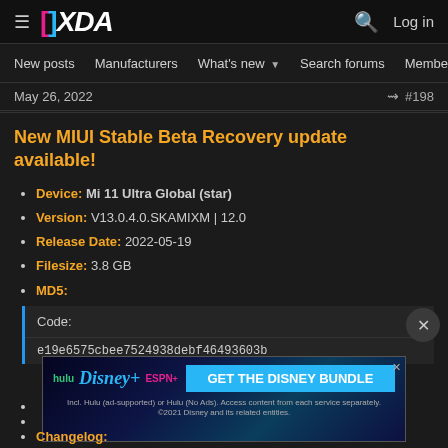XDA Developers - New posts | Manufacturers | What's new | Search forums | Members
May 26, 2022  #198
New MIUI Stable Beta Recovery update available!
Device: Mi 11 Ultra Global (star)
Version: V13.0.4.0.SKAMIXM | 12.0
Release Date: 2022-05-19
Filesize: 3.8 GB
MD5:
Code:
e19e6575cbee7524938debf46493603b
[Figure (other): Disney Bundle advertisement banner with Hulu, Disney+, ESPN+ logos and GET THE DISNEY BUNDLE call to action]
Changelog: